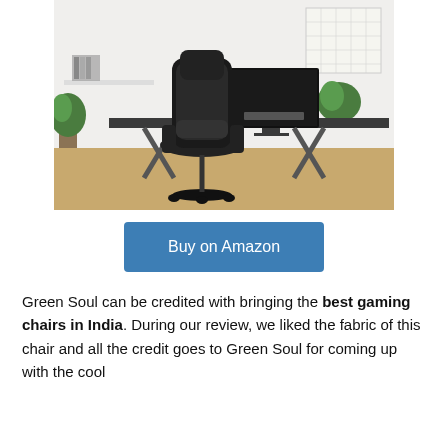[Figure (photo): A black gaming chair with lumbar support and armrests positioned in front of a dark desk with a monitor, keyboard, and a plant, on a light wood floor with a white wall background.]
Buy on Amazon
Green Soul can be credited with bringing the best gaming chairs in India. During our review, we liked the fabric of this chair and all the credit goes to Green Soul for coming up with the cool...